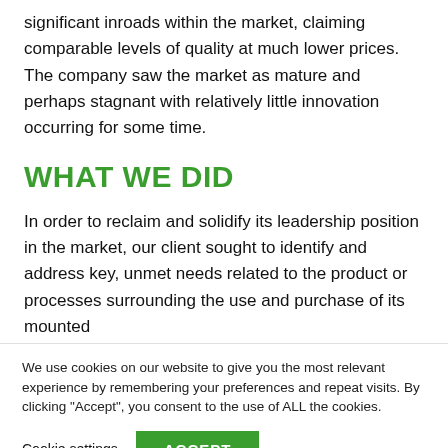significant inroads within the market, claiming comparable levels of quality at much lower prices. The company saw the market as mature and perhaps stagnant with relatively little innovation occurring for some time.
WHAT WE DID
In order to reclaim and solidify its leadership position in the market, our client sought to identify and address key, unmet needs related to the product or processes surrounding the use and purchase of its mounted
We use cookies on our website to give you the most relevant experience by remembering your preferences and repeat visits. By clicking “Accept”, you consent to the use of ALL the cookies.
Cookie settings   ACCEPT
Share This ∨